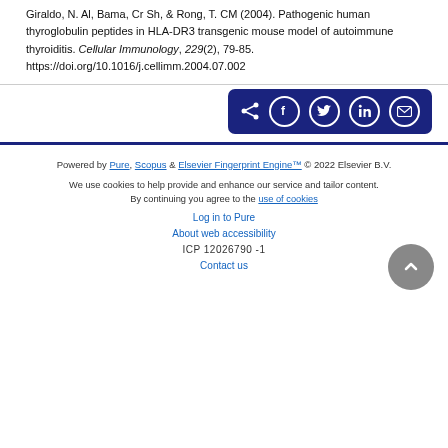Giraldo, N. Al, Bama, Cr Sh, & Rong, T. CM (2004). Pathogenic human thyroglobulin peptides in HLA-DR3 transgenic mouse model of autoimmune thyroiditis. Cellular Immunology, 229(2), 79-85. https://doi.org/10.1016/j.cellimm.2004.07.002
[Figure (other): Social sharing button bar with icons for share, Facebook, Twitter, LinkedIn, and email on a dark navy background]
Powered by Pure, Scopus & Elsevier Fingerprint Engine™ © 2022 Elsevier B.V.
We use cookies to help provide and enhance our service and tailor content. By continuing you agree to the use of cookies
Log in to Pure
About web accessibility
ICP 12026790 -1
Contact us